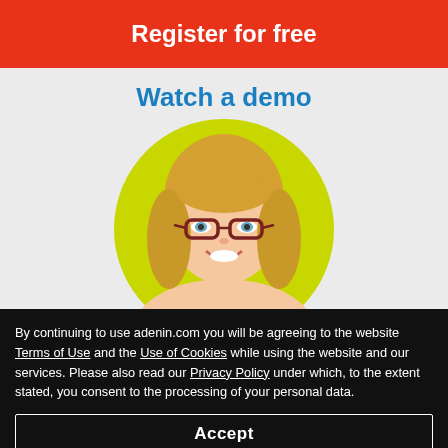Register for free
Watch a demo
[Figure (photo): Portrait photo of a smiling blonde woman wearing dark red glasses, positioned in front of a yellow-green circle, on a light gray background.]
By continuing to use adenin.com you will be agreeing to the website Terms of Use and the Use of Cookies while using the website and our services. Please also read our Privacy Policy under which, to the extent stated, you consent to the processing of your personal data.
Accept